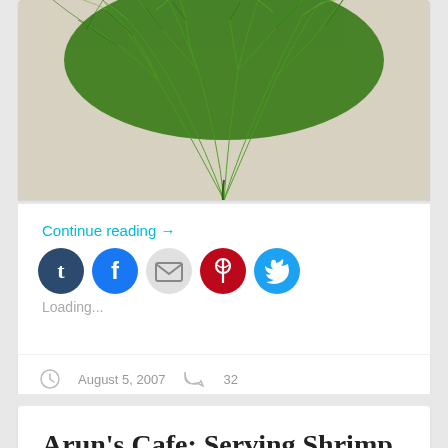[Figure (photo): Top portion of a photo showing fresh dill herb on a white textured cloth/paper background]
Continue reading →
[Figure (infographic): Row of five social sharing icon buttons: Tumblr (dark navy), Facebook (blue), Email (gray), Pinterest (red), Twitter (cyan)]
Loading...
August 5, 2007  32
Arun's Cafe: Serving Shrimp Over dill